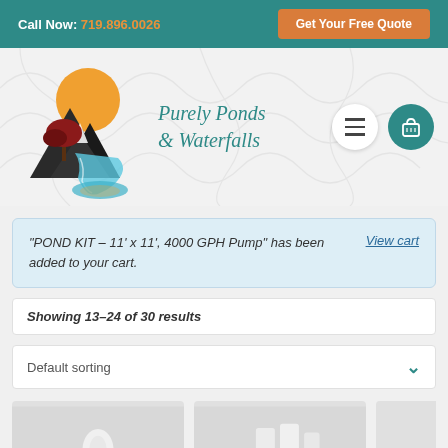Call Now: 719.896.0026 | Get Your Free Quote
[Figure (logo): Purely Ponds & Waterfalls logo with waterfall, tree, and sun illustration]
"POND KIT – 11' x 11', 4000 GPH Pump" has been added to your cart.
View cart
Showing 13–24 of 30 results
Default sorting
[Figure (photo): Product image thumbnail 1]
[Figure (photo): Product image thumbnail 2]
[Figure (photo): Product image thumbnail 3 (partial)]